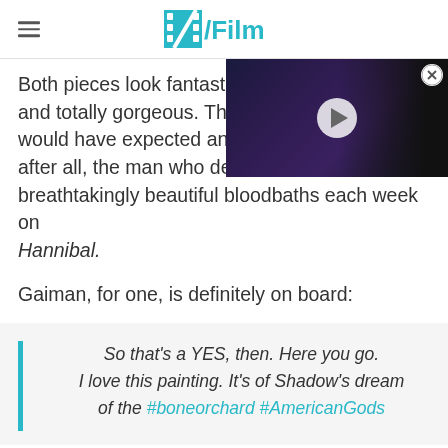/Film
Both pieces look fantastic – and totally gorgeous. Then would have expected any le after all, the man who delive breathtakingly beautiful bloodbaths each week on Hannibal.
[Figure (screenshot): Video player overlay showing a person in black costume/mask (Catwoman-like), with a play button in the center and a close (X) button in the top right corner.]
Gaiman, for one, is definitely on board:
So that's a YES, then. Here you go. I love this painting. It's of Shadow's dream of the #boneorchard #AmericanGods